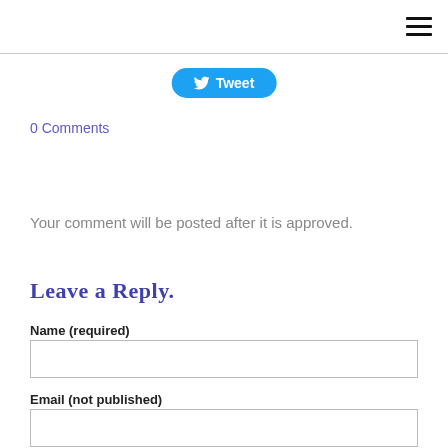☰
[Figure (other): Tweet button with Twitter bird icon]
0 Comments
Your comment will be posted after it is approved.
Leave a Reply.
Name (required)
Email (not published)